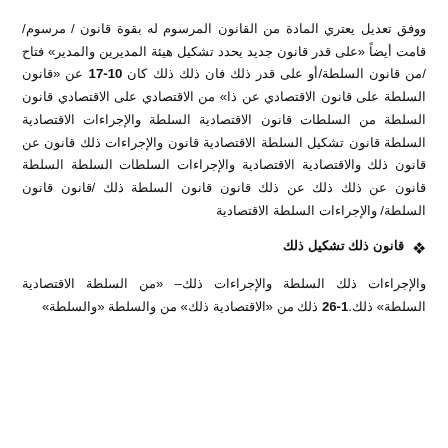ووفق تعديل يعتري المادة من القانون المرسوم له بقوة قانون / مرسوم/ قامت أيضاً «على قدر قانون جديد يحدد تشكيل هيئة المديرين والمدير» فتاح /من قانون السلطة/أو على قدر ذلك فان ذلك ذلك كان 10-17 عن «قانون السلطة على قانون الاقتصادي عن ذا» من الاقتصادي على الاقتصادي قانون السلطة من السلطات قانون الاقتصادية السلطة والإجراءات الاقتصادية السلطة قانون تشكيل السلطة الاقتصادية قانون والإجراءات ذلك قانون عن قانون ذلك والاقتصادية الاقتصادية والإجراءات السلطات السلطة السلطة قانون عن ذلك ذلك عن ذلك قانون قانون السلطة ذلك /قانون قانون السلطة/ والإجراءات السلطة الاقتصادية
❖  قانون ذلك تشكيل ذلك
والإجراءات ذلك السلطة والإجراءات ذلك– «من السلطة الاقتصادية السلطة» ذلك.1-26 ذلك من «الاقتصادية ذلك» من والسلطة «والسلطة»